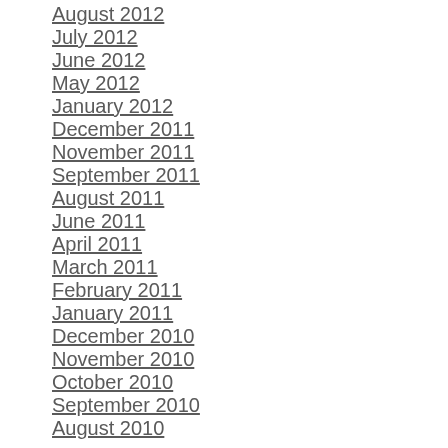August 2012
July 2012
June 2012
May 2012
January 2012
December 2011
November 2011
September 2011
August 2011
June 2011
April 2011
March 2011
February 2011
January 2011
December 2010
November 2010
October 2010
September 2010
August 2010